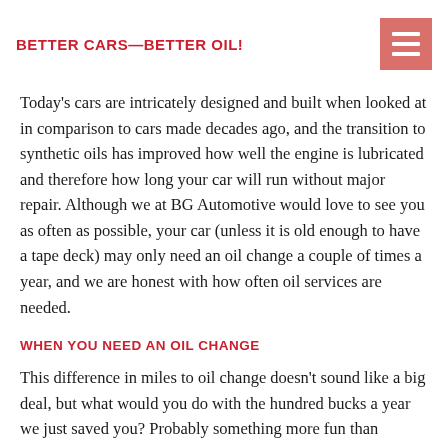BETTER CARS—BETTER OIL!
Today's cars are intricately designed and built when looked at in comparison to cars made decades ago, and the transition to synthetic oils has improved how well the engine is lubricated and therefore how long your car will run without major repair. Although we at BG Automotive would love to see you as often as possible, your car (unless it is old enough to have a tape deck) may only need an oil change a couple of times a year, and we are honest with how often oil services are needed.
WHEN YOU NEED AN OIL CHANGE
This difference in miles to oil change doesn't sound like a big deal, but what would you do with the hundred bucks a year we just saved you? Probably something more fun than